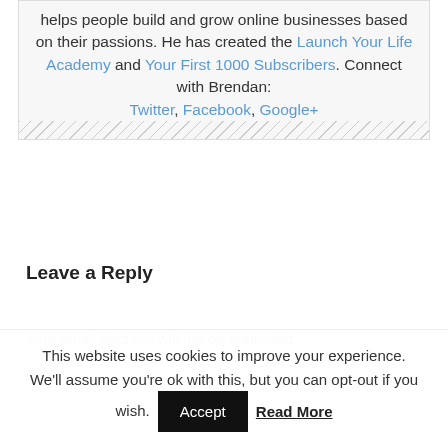helps people build and grow online businesses based on their passions. He has created the Launch Your Life Academy and Your First 1000 Subscribers. Connect with Brendan: Twitter, Facebook, Google+
Leave a Reply
Your email address will not be published.
This website uses cookies to improve your experience. We'll assume you're ok with this, but you can opt-out if you wish. Accept Read More